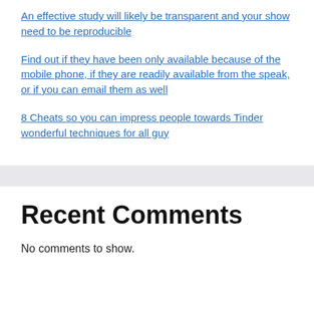An effective study will likely be transparent and your show need to be reproducible
Find out if they have been only available because of the mobile phone, if they are readily available from the speak, or if you can email them as well
8 Cheats so you can impress people towards Tinder wonderful techniques for all guy
Recent Comments
No comments to show.